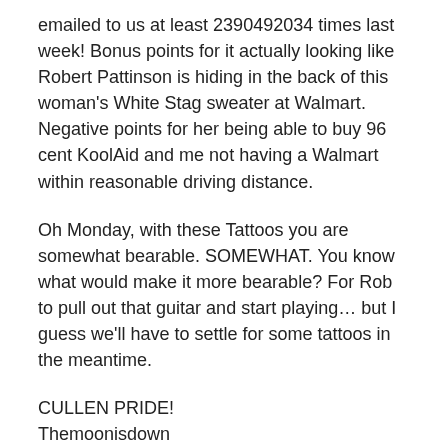emailed to us at least 2390492034 times last week! Bonus points for it actually looking like Robert Pattinson is hiding in the back of this woman's White Stag sweater at Walmart. Negative points for her being able to buy 96 cent KoolAid and me not having a Walmart within reasonable driving distance.
Oh Monday, with these Tattoos you are somewhat bearable. SOMEWHAT. You know what would make it more bearable? For Rob to pull out that guitar and start playing… but I guess we'll have to settle for some tattoos in the meantime.
CULLEN PRIDE!
Themoonisdown
Are you planning your Twilight tattoo? What would you get? Is this image one of Mount Rushmore with the faces...